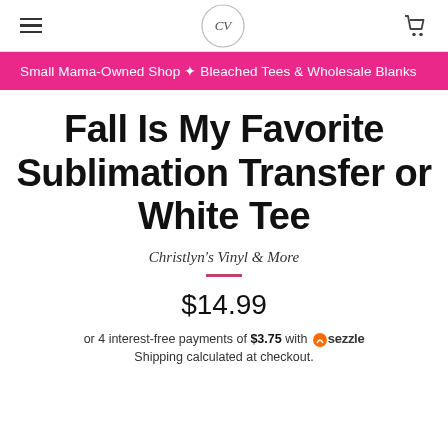≡  [logo]  🛒
Small Mama-Owned Shop 🌸 Bleached Tees & Wholesale Blanks
Fall Is My Favorite Sublimation Transfer or White Tee
Christlyn's Vinyl & More
$14.99
or 4 interest-free payments of $3.75 with  Sezzle
Shipping calculated at checkout.